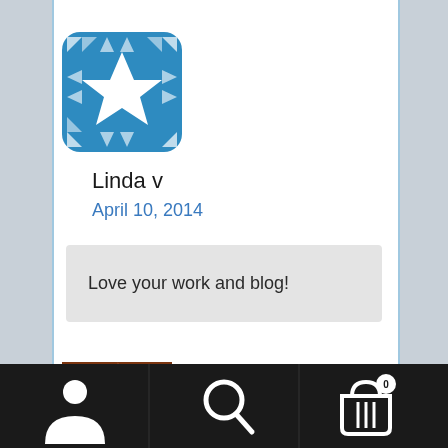[Figure (logo): Blue geometric quilt-pattern square logo]
Linda v
April 10, 2014
Love your work and blog!
[Figure (photo): Brown geometric pattern avatar, partially visible at bottom]
[Figure (infographic): Bottom navigation bar with person icon, search icon, and cart icon with badge showing 0]